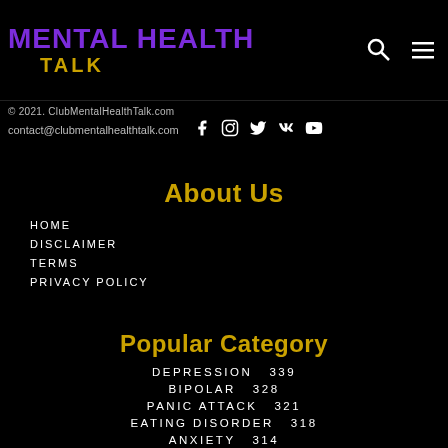MENTAL HEALTH TALK
© 2021. ClubMentalHealthTalk.com
contact@clubmentalhealthtalk.com
About Us
HOME
DISCLAIMER
TERMS
PRIVACY POLICY
Popular Category
DEPRESSION 339
BIPOLAR 328
PANIC ATTACK 321
EATING DISORDER 318
ANXIETY 314